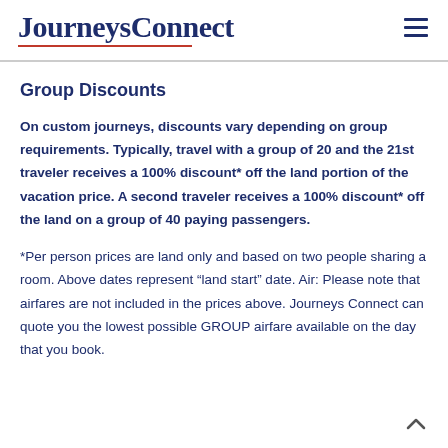JourneysConnect
Group Discounts
On custom journeys, discounts vary depending on group requirements. Typically, travel with a group of 20 and the 21st traveler receives a 100% discount* off the land portion of the vacation price. A second traveler receives a 100% discount* off the land on a group of 40 paying passengers.
*Per person prices are land only and based on two people sharing a room. Above dates represent “land start” date. Air: Please note that airfares are not included in the prices above. Journeys Connect can quote you the lowest possible GROUP airfare available on the day that you book.